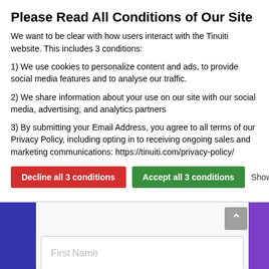Please Read All Conditions of Our Site
We want to be clear with how users interact with the Tinuiti website. This includes 3 conditions:
1) We use cookies to personalize content and ads, to provide social media features and to analyse our traffic.
2) We share information about your use on our site with our social media, advertising, and analytics partners
3) By submitting your Email Address, you agree to all terms of our Privacy Policy, including opting in to receiving ongoing sales and marketing communications: https://tinuiti.com/privacy-policy/
[Figure (screenshot): Two buttons: 'Decline all 3 conditions' (red) and 'Accept all 3 conditions' (green), with a 'Show details' dropdown link]
[Figure (screenshot): Website form section with dark blue and purple side panels, a scroll-up button, and a First Name input field]